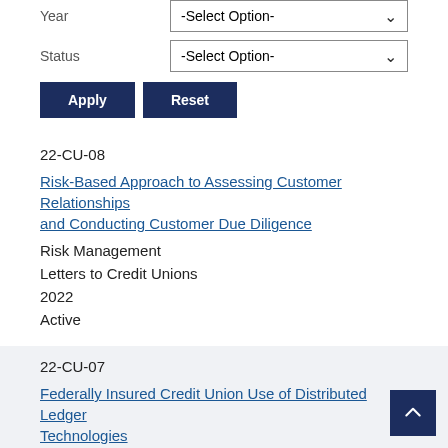Year  -Select Option-
Status  -Select Option-
Apply  Reset
22-CU-08
Risk-Based Approach to Assessing Customer Relationships and Conducting Customer Due Diligence
Risk Management
Letters to Credit Unions
2022
Active
22-CU-07
Federally Insured Credit Union Use of Distributed Ledger Technologies
Operations